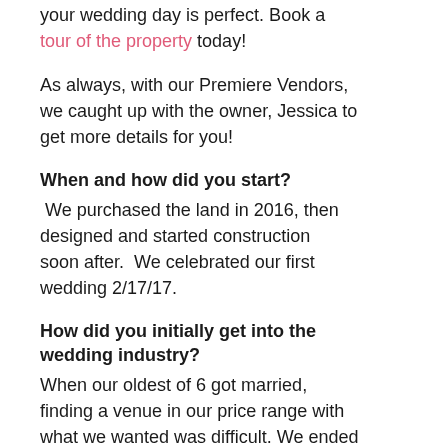your wedding day is perfect. Book a tour of the property today!
As always, with our Premiere Vendors, we caught up with the owner, Jessica to get more details for you!
When and how did you start?
We purchased the land in 2016, then designed and started construction soon after. We celebrated our first wedding 2/17/17.
How did you initially get into the wedding industry?
When our oldest of 6 got married, finding a venue in our price range with what we wanted was difficult. We ended up driving to a venue two and a half